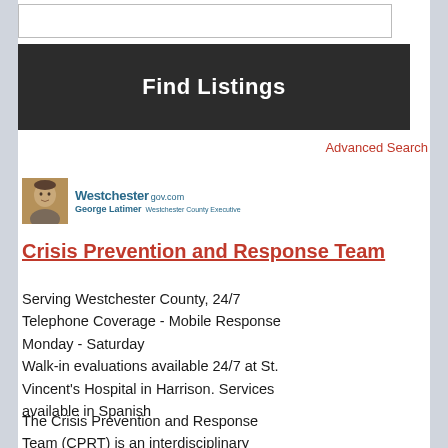Find Listings
Advanced Search
[Figure (logo): Westchester County Government logo with photo of George Latimer, Westchester County Executive]
Crisis Prevention and Response Team
Serving Westchester County, 24/7 Telephone Coverage - Mobile Response Monday - Saturday
Walk-in evaluations available 24/7 at St. Vincent's Hospital in Harrison. Services available in Spanish
The Crisis Prevention and Response Team (CPRT) is an interdisciplinary